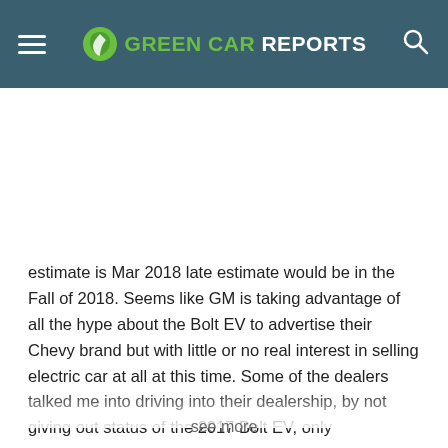GREEN CAR REPORTS
estimate is Mar 2018 late estimate would be in the Fall of 2018. Seems like GM is taking advantage of all the hype about the Bolt EV to advertise their Chevy brand but with little or no real interest in selling electric car at all at this time. Some of the dealers talked me into driving into their dealership, by not giving out status of the 2017 Bolt EV, only
see more
8 ∧ | ∨ Reply